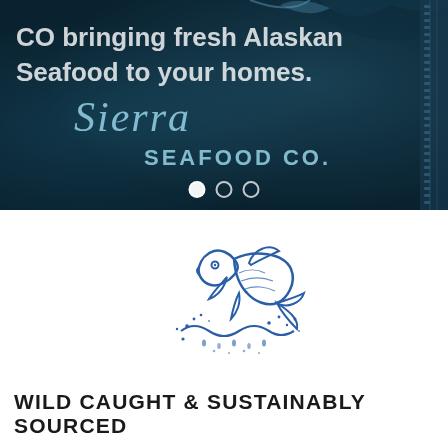[Figure (photo): Hero banner showing dark teal fishing boat with 'Sierra Seafood Co.' script logo overlaid. Text overlay reads 'CO bringing fresh Alaskan Seafood to your homes.' with three slider navigation dots below.]
[Figure (logo): Outline illustration of a leaping salmon fish with water splash dots, drawn in blue on white background. Sierra Seafood Co. brand icon.]
WILD CAUGHT & SUSTAINABLY SOURCED